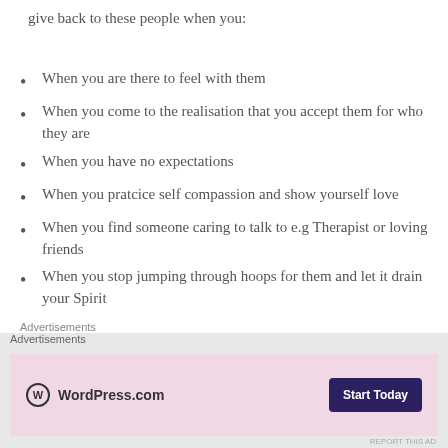give back to these people when you:
When you are there to feel with them
When you come to the realisation that you accept them for who they are
When you have no expectations
When you pratcice self compassion and show yourself love
When you find someone caring to talk to e.g Therapist or loving friends
When you stop jumping through hoops for them and let it drain your Spirit
Advertisements
Advertisements
[Figure (screenshot): WordPress.com advertisement banner with pink background, WordPress logo, and 'Start Today' button]